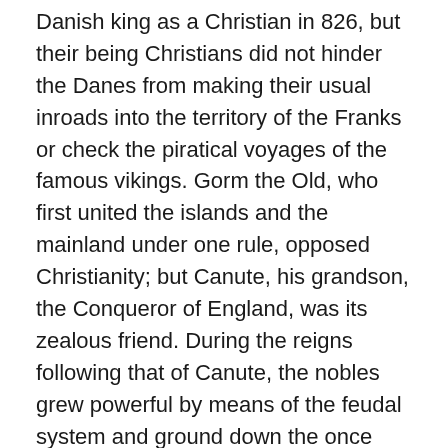Danish king as a Christian in 826, but their being Christians did not hinder the Danes from making their usual inroads into the territory of the Franks or check the piratical voyages of the famous vikings. Gorm the Old, who first united the islands and the mainland under one rule, opposed Christianity; but Canute, his grandson, the Conqueror of England, was its zealous friend. During the reigns following that of Canute, the nobles grew powerful by means of the feudal system and ground down the once free people to serfs. Waldemar I (1157-1182) conquered Norway; while Waldemar II conquered German lands, which were lost under his successors. The great Queen Margaret (1375-1412) ruled Denmark, Norway and Sweden so well that for once the three rival Scandinavian kingdoms lived together quietly and peaceably. Christian I (1448-81), the founder of the Oldenburg line of kings, which maintained itself on the throne until 1863, was